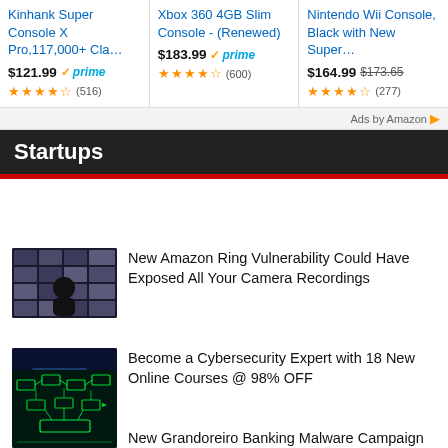[Figure (other): Product listing cards for gaming consoles: Kinhank Super Console X Pro,117,000+ Cla..., Xbox 360 4GB Slim Console - (Renewed), Nintendo Wii Console, Black with New Super...]
Ads by Amazon
Startups
[Figure (photo): Silhouette of person in front of security camera grid]
New Amazon Ring Vulnerability Could Have Exposed All Your Camera Recordings
[Figure (photo): Person working at computer with blue-lit screen]
Become a Cybersecurity Expert with 18 New Online Courses @ 98% OFF
[Figure (photo): Green digital network/malware diagram on dark background]
New Grandoreiro Banking Malware Campaign Targeting Spanish Manufacturers